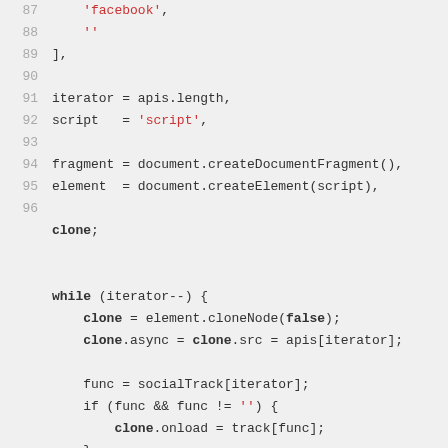Code snippet showing JavaScript lines 87-96 and while loop with clone operations